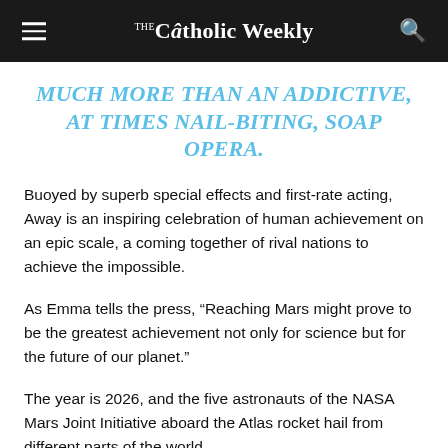The Catholic Weekly
MUCH MORE THAN AN ADDICTIVE, AT TIMES NAIL-BITING, SOAP OPERA.
Buoyed by superb special effects and first-rate acting, Away is an inspiring celebration of human achievement on an epic scale, a coming together of rival nations to achieve the impossible.
As Emma tells the press, “Reaching Mars might prove to be the greatest achievement not only for science but for the future of our planet.”
The year is 2026, and the five astronauts of the NASA Mars Joint Initiative aboard the Atlas rocket hail from different parts of the world.